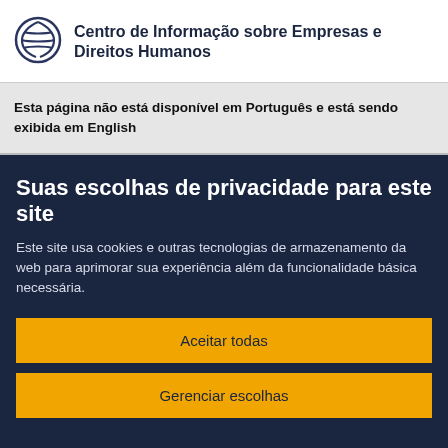Centro de Informação sobre Empresas e Direitos Humanos
Esta página não está disponível em Português e está sendo exibida em English
Suas escolhas de privacidade para este site
Este site usa cookies e outras tecnologias de armazenamento da web para aprimorar sua experiência além da funcionalidade básica necessária.
Aceitar todas
Gerenciar escolhas